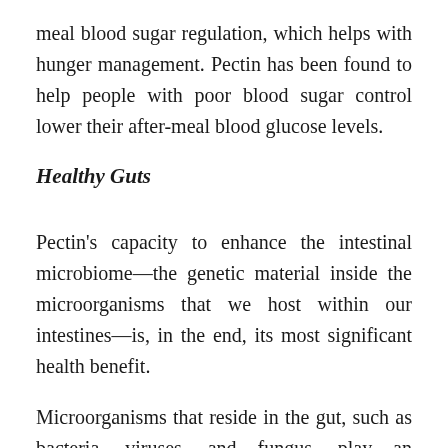meal blood sugar regulation, which helps with hunger management. Pectin has been found to help people with poor blood sugar control lower their after-meal blood glucose levels.
Healthy Guts
Pectin's capacity to enhance the intestinal microbiome—the genetic material inside the microorganisms that we host within our intestines—is, in the end, its most significant health benefit.
Microorganisms that reside in the gut, such as bacteria, viruses, and fungus, play an important part in our general health. As a "prebiotic," apple pectin